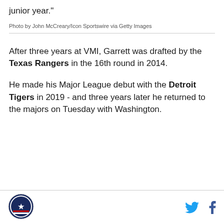junior year."
Photo by John McCreary/Icon Sportswire via Getty Images
After three years at VMI, Garrett was drafted by the Texas Rangers in the 16th round in 2014.
He made his Major League debut with the Detroit Tigers in 2019 - and three years later he returned to the majors on Tuesday with Washington.
Logo | Twitter | Facebook